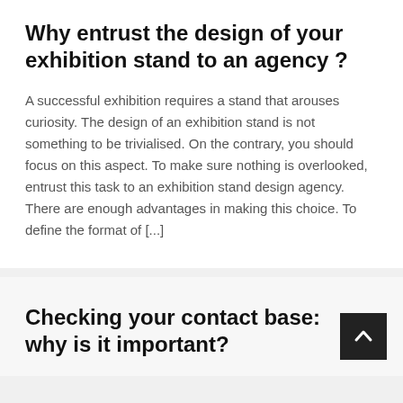Why entrust the design of your exhibition stand to an agency ?
A successful exhibition requires a stand that arouses curiosity. The design of an exhibition stand is not something to be trivialised. On the contrary, you should focus on this aspect. To make sure nothing is overlooked, entrust this task to an exhibition stand design agency. There are enough advantages in making this choice. To define the format of [...]
Checking your contact base: why is it important?